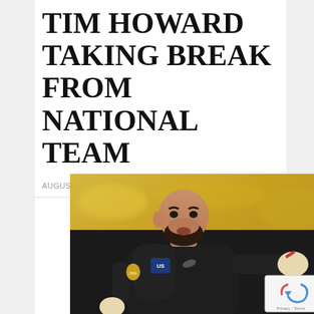TIM HOWARD TAKING BREAK FROM NATIONAL TEAM
AUGUST 22, 2014 POSTED BY EDITOR
[Figure (photo): Tim Howard, US national team goalkeeper, wearing dark goalkeeper kit and gloves, pointing/gesturing, with blurred crowd background]